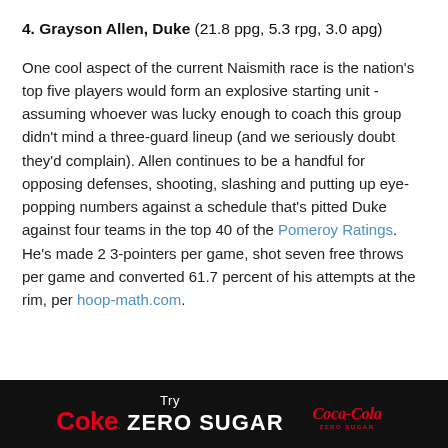4. Grayson Allen, Duke (21.8 ppg, 5.3 rpg, 3.0 apg)
One cool aspect of the current Naismith race is the nation’s top five players would form an explosive starting unit - assuming whoever was lucky enough to coach this group didn’t mind a three-guard lineup (and we seriously doubt they’d complain). Allen continues to be a handful for opposing defenses, shooting, slashing and putting up eye-popping numbers against a schedule that’s pitted Duke against four teams in the top 40 of the Pomeroy Ratings. He’s made 2 3-pointers per game, shot seven free throws per game and converted 61.7 percent of his attempts at the rim, per hoop-math.com.
[Figure (infographic): Coca-Cola Zero Sugar advertisement banner in black background with red and white text reading Try Coke Zero Sugar and Coca-Cola Zero Sugar logo]